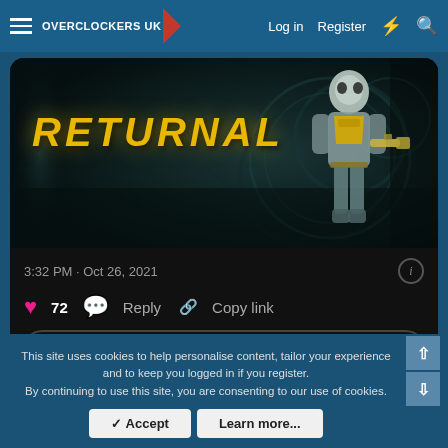Overclockers UK | Log in | Register
[Figure (screenshot): Returnal game promotional image showing a character in space suit holding a weapon, with yellow RETURNAL title text, dark teal background with mechanical elements]
3:32 PM · Oct 26, 2021
72  Reply  Copy link
Read 25 replies
This site uses cookies to help personalise content, tailor your experience and to keep you logged in if you register.
By continuing to use this site, you are consenting to our use of cookies.
✓ Accept   Learn more...